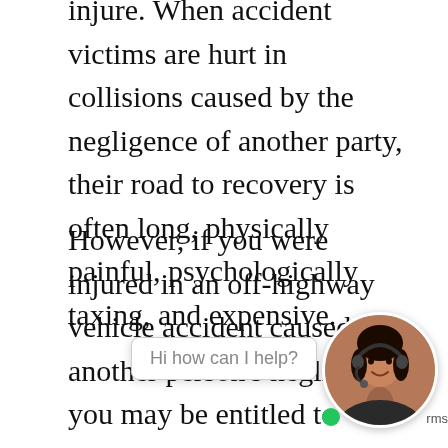injure. When accident victims are hurt in collisions caused by the negligence of another party, their road to recovery is often long, physically painful, psychologically taxing, and expensive.
However, if you were injured in an off-highway vehicle accident caused by another person's negligence, you may be entitled to compensation. By working with our snowmobile accident lawyers serving New Waterford, you may be able to recover damages you hav su sustaining compensable injuries in a
[Figure (other): Customer support chat widget with avatar of a woman wearing a headset and a speech bubble saying 'Hi how can I help?']